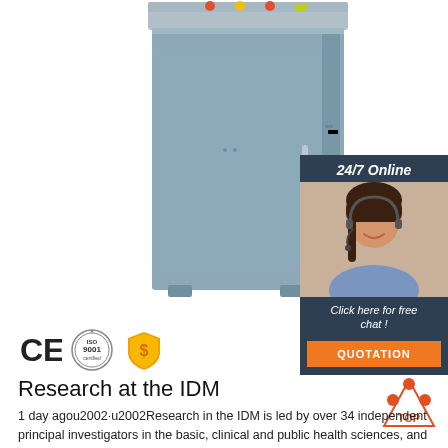[Figure (photo): Gray industrial medical cabinet/equipment unit with control panel on top]
[Figure (infographic): 24/7 Online chat widget showing woman with headset, 'Click here for free chat!' text and orange QUOTATION button]
[Figure (infographic): Certification icons: CE mark, ISO 9001 seal, and gold shield/dollar icon]
Research at the IDM
[Figure (logo): TOP logo with orange dots arranged in triangle]
1 day agou2002·u2002Research in the IDM is led by over 34 independent principal investigators in the basic, clinical and public health sciences, and has a strong translational